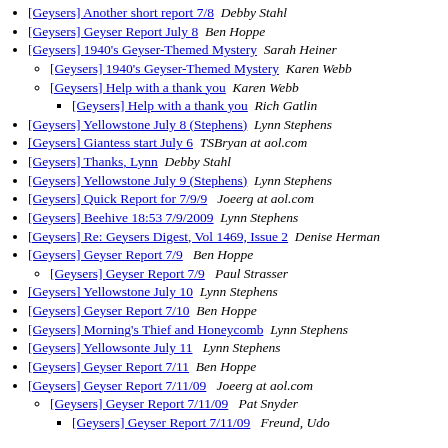[Geysers] Another short report 7/8  Debby Stahl
[Geysers] Geyser Report July 8  Ben Hoppe
[Geysers] 1940's Geyser-Themed Mystery  Sarah Heiner
[Geysers] 1940's Geyser-Themed Mystery  Karen Webb
[Geysers] Help with a thank you  Karen Webb
[Geysers] Help with a thank you  Rich Gatlin
[Geysers] Yellowstone July 8 (Stephens)  Lynn Stephens
[Geysers] Giantess start July 6  TSBryan at aol.com
[Geysers] Thanks, Lynn  Debby Stahl
[Geysers] Yellowstone July 9 (Stephens)  Lynn Stephens
[Geysers] Quick Report for 7/9/9  Joeerg at aol.com
[Geysers] Beehive 18:53 7/9/2009  Lynn Stephens
[Geysers] Re: Geysers Digest, Vol 1469, Issue 2  Denise Herman
[Geysers] Geyser Report 7/9  Ben Hoppe
[Geysers] Geyser Report 7/9  Paul Strasser
[Geysers] Yellowstone July 10  Lynn Stephens
[Geysers] Geyser Report 7/10  Ben Hoppe
[Geysers] Morning's Thief and Honeycomb  Lynn Stephens
[Geysers] Yellowsonte July 11  Lynn Stephens
[Geysers] Geyser Report 7/11  Ben Hoppe
[Geysers] Geyser Report 7/11/09  Joeerg at aol.com
[Geysers] Geyser Report 7/11/09  Pat Snyder
[Geysers] Geyser Report 7/11/09  Freund, Udo